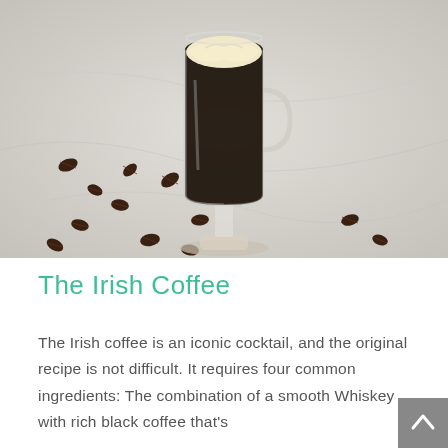[Figure (photo): A glass mug of Irish Coffee with dark coffee and a thick cream topping, sitting on a marble surface surrounded by scattered coffee beans.]
The Irish Coffee
The Irish coffee is an iconic cocktail, and the original recipe is not difficult. It requires four common ingredients: The combination of a smooth Whiskey with rich black coffee that's